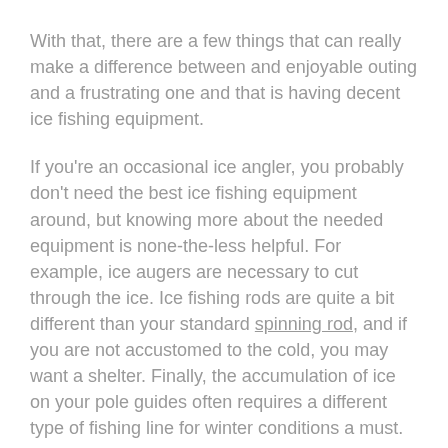With that, there are a few things that can really make a difference between and enjoyable outing and a frustrating one and that is having decent ice fishing equipment.
If you're an occasional ice angler, you probably don't need the best ice fishing equipment around, but knowing more about the needed equipment is none-the-less helpful. For example, ice augers are necessary to cut through the ice. Ice fishing rods are quite a bit different than your standard spinning rod, and if you are not accustomed to the cold, you may want a shelter. Finally, the accumulation of ice on your pole guides often requires a different type of fishing line for winter conditions a must.
As such, we will review the best ice fishing line. Fishing line in any sense is often underrated, but it's crucial in order to be successful. After all, it's what connects your bait to your rod!